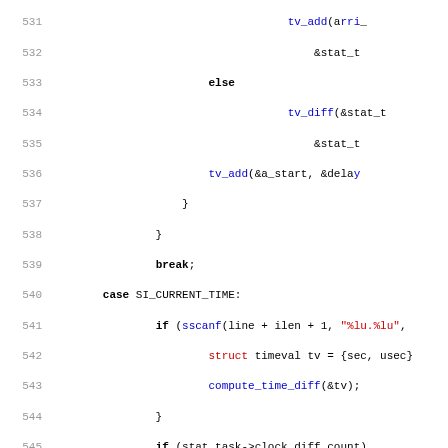[Figure (screenshot): Source code listing in C, lines 531-563, showing code for handling SI_CURRENT_TIME case and try_to_close_slot function. Syntax highlighted with keywords in bold, strings/structs in red, numeric/identifiers in blue.]